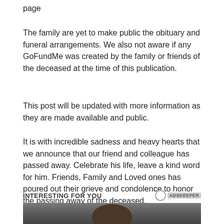page
The family are yet to make public the obituary and funeral arrangements. We also not aware if any GoFundMe was created by the family or friends of the deceased at the time of this publication.
This post will be updated with more information as they are made available and public.
It is with incredible sadness and heavy hearts that we announce that our friend and colleague has passed away. Celebrate his life, leave a kind word for him. Friends, Family and Loved ones has poured out their grieve and condolence to honor the passing away of the deceased.
INTERESTING FOR YOU
[Figure (photo): Partial photo of a person with dark brown hair, cropped at top of page bottom]